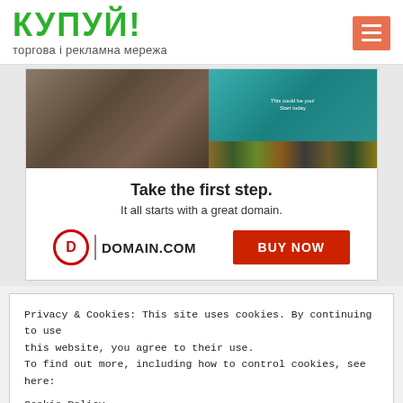КУПУЙ!
торгова і рекламна мережа
[Figure (screenshot): Advertisement banner for Domain.com showing a person working on a bicycle on the left, a teal website screenshot on the right, headline 'Take the first step. It all starts with a great domain.' with Domain.com logo and red BUY NOW button.]
Privacy & Cookies: This site uses cookies. By continuing to use this website, you agree to their use.
To find out more, including how to control cookies, see here:
Cookie Policy
close and accept